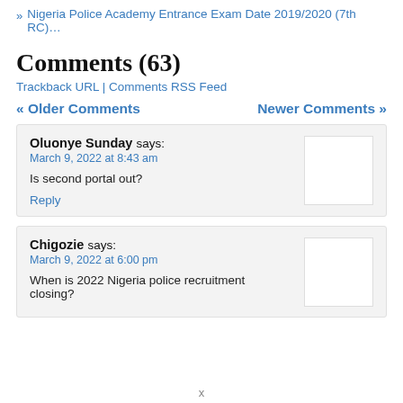Nigeria Police Academy Entrance Exam Date 2019/2020 (7th RC)…
Comments (63)
Trackback URL | Comments RSS Feed
« Older Comments   Newer Comments »
Oluonye Sunday says:
March 9, 2022 at 8:43 am
Is second portal out?
Reply
Chigozie says:
March 9, 2022 at 6:00 pm
When is 2022 Nigeria police recruitment closing?